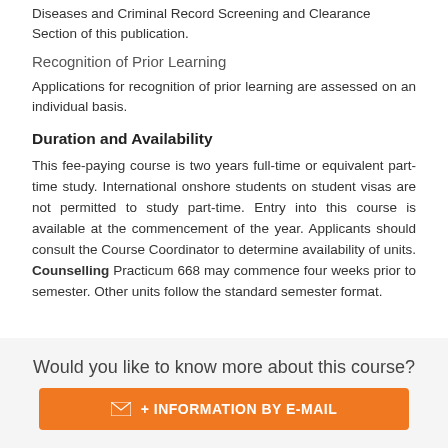Diseases and Criminal Record Screening and Clearance Section of this publication.
Recognition of Prior Learning
Applications for recognition of prior learning are assessed on an individual basis.
Duration and Availability
This fee-paying course is two years full-time or equivalent part-time study. International onshore students on student visas are not permitted to study part-time. Entry into this course is available at the commencement of the year. Applicants should consult the Course Coordinator to determine availability of units. Counselling Practicum 668 may commence four weeks prior to semester. Other units follow the standard semester format.
Would you like to know more about this course?
+ INFORMATION BY E-MAIL